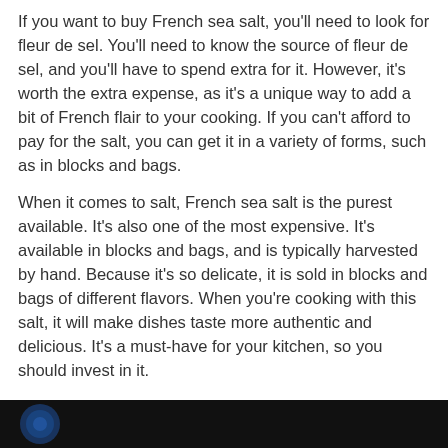If you want to buy French sea salt, you'll need to look for fleur de sel. You'll need to know the source of fleur de sel, and you'll have to spend extra for it. However, it's worth the extra expense, as it's a unique way to add a bit of French flair to your cooking. If you can't afford to pay for the salt, you can get it in a variety of forms, such as in blocks and bags.
When it comes to salt, French sea salt is the purest available. It's also one of the most expensive. It's available in blocks and bags, and is typically harvested by hand. Because it's so delicate, it is sold in blocks and bags of different flavors. When you're cooking with this salt, it will make dishes taste more authentic and delicious. It's a must-have for your kitchen, so you should invest in it.
If you're not sure where to buy French sea salt, there are several places to buy it. Most gourmet stores sell fleur de sel, and you can also order it online. The darker it is, the more nutrients it contains. This is why many chefs prefer it, and you should, too. Aside from the great taste, it also has health benefits. Buying fleur de sel from France can help you control fluid retention and improve muscle function.
[Figure (photo): Dark image strip at the bottom of the page, appears to show a partial logo or circular icon on a black background.]